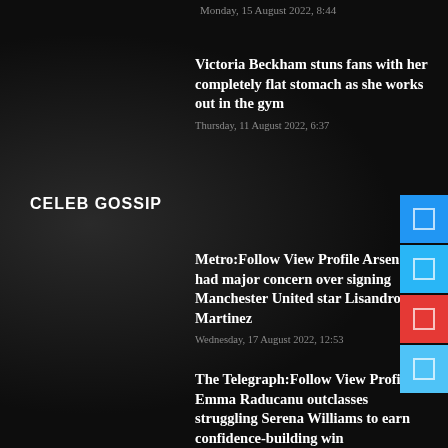Monday, 15 August 2022, 8:44
Victoria Beckham stuns fans with her completely flat stomach as she works out in the gym
Thursday, 11 August 2022, 6:37
CELEB GOSSIP
Metro:Follow View Profile Arsenal had major concern over signing Manchester United star Lisandro Martinez
Wednesday, 17 August 2022, 12:53
The Telegraph:Follow View Profile Emma Raducanu outclasses struggling Serena Williams to earn confidence-building win
Wednesday, 17 August 2022, 8:01